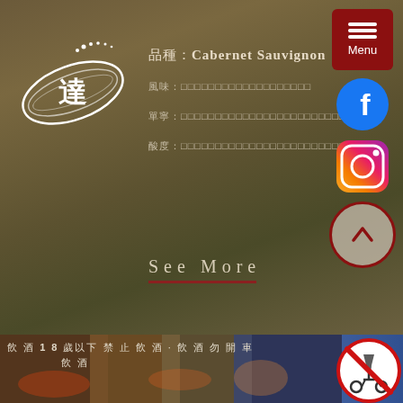[Figure (logo): White circular swoosh logo with Chinese character 達 in center and dots above, on dark olive/brown background]
品種：Cabernet Sauvignon
風味：□□□□□□□□□□□□□□□□□□□□
單寧：□□□□□□□□□□□□□□□□□□□□□□□□□□□
酸度：□□□□□□□□□□□□□□□□□□□□□□□□□□□
See More
[Figure (screenshot): Menu button (dark red with hamburger icon and Menu label), Facebook icon (blue circle with f), Instagram icon (gradient square with camera), scroll-up button (circle with up chevron)]
[Figure (photo): Blurred restaurant/party scene at bottom strip]
飲 酒 1 8 歲以下 禁 止 飲 酒 · 飲 酒 勿 開 車
[Figure (illustration): No drinking and driving warning icon - red circle with slash over wine glass and car/scooter]